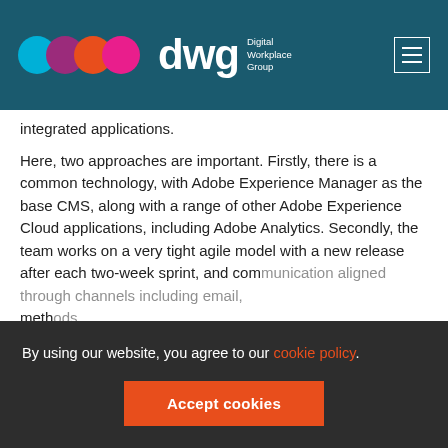dwg Digital Workplace Group
integrated applications.
Here, two approaches are important. Firstly, there is a common technology, with Adobe Experience Manager as the base CMS, along with a range of other Adobe Experience Cloud applications, including Adobe Analytics. Secondly, the team works on a very tight agile model with a new release after each two-week sprint, and com[munication aligned through channels including email, meth...]
2 . analytics, personalization and search
By using our website, you agree to our cookie policy.
Accept cookies